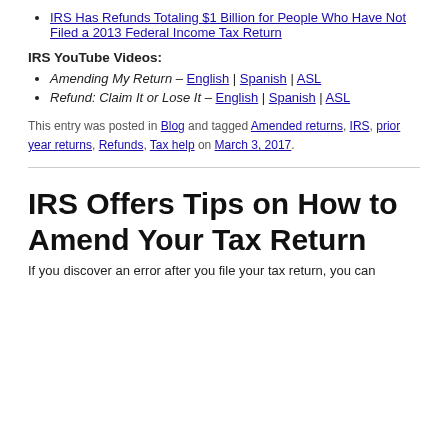IRS Has Refunds Totaling $1 Billion for People Who Have Not Filed a 2013 Federal Income Tax Return
IRS YouTube Videos:
Amending My Return – English | Spanish | ASL
Refund: Claim It or Lose It – English | Spanish | ASL
This entry was posted in Blog and tagged Amended returns, IRS, prior year returns, Refunds, Tax help on March 3, 2017.
IRS Offers Tips on How to Amend Your Tax Return
If you discover an error after you file your tax return, you can